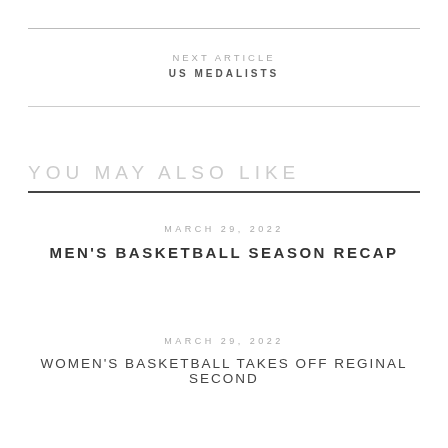NEXT ARTICLE
US MEDALISTS
YOU MAY ALSO LIKE
MARCH 29, 2022
MEN'S BASKETBALL SEASON RECAP
MARCH 29, 2022
WOMEN'S BASKETBALL TAKES OFF REGINAL SECOND